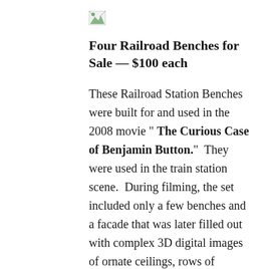[Figure (other): Broken image icon (small thumbnail placeholder)]
Four Railroad Benches for Sale  —  $100 each
These Railroad Station Benches were built for and used in the 2008 movie " The Curious Case of Benjamin Button."  They were used in the train station scene.  During filming, the set included only a few benches and a facade that was later filled out with complex 3D digital images of ornate ceilings, rows of windows and a large crowd. Check out the behind the scene details at Animation World Network.